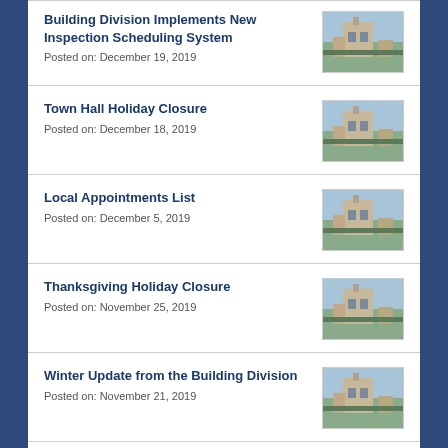Building Division Implements New Inspection Scheduling System
Posted on: December 19, 2019
Town Hall Holiday Closure
Posted on: December 18, 2019
Local Appointments List
Posted on: December 5, 2019
Thanksgiving Holiday Closure
Posted on: November 25, 2019
Winter Update from the Building Division
Posted on: November 21, 2019